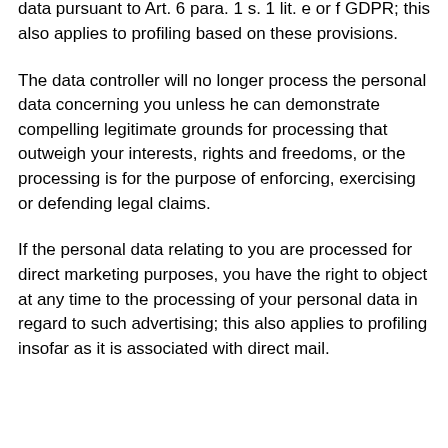Subjective to your situation, you have, at any time, the right to object against the processing of your personal data pursuant to Art. 6 para. 1 s. 1 lit. e or f GDPR; this also applies to profiling based on these provisions.
The data controller will no longer process the personal data concerning you unless he can demonstrate compelling legitimate grounds for processing that outweigh your interests, rights and freedoms, or the processing is for the purpose of enforcing, exercising or defending legal claims.
If the personal data relating to you are processed for direct marketing purposes, you have the right to object at any time to the processing of your personal data in regard to such advertising; this also applies to profiling insofar as it is associated with direct mail.